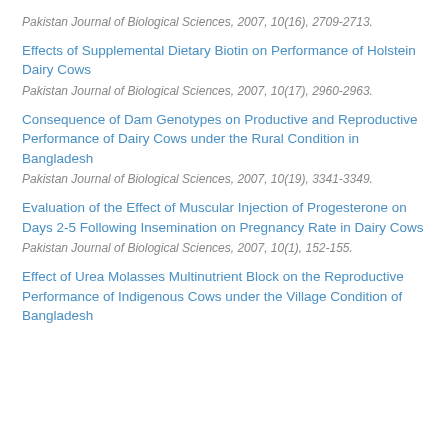Pakistan Journal of Biological Sciences, 2007, 10(16), 2709-2713.
Effects of Supplemental Dietary Biotin on Performance of Holstein Dairy Cows
Pakistan Journal of Biological Sciences, 2007, 10(17), 2960-2963.
Consequence of Dam Genotypes on Productive and Reproductive Performance of Dairy Cows under the Rural Condition in Bangladesh
Pakistan Journal of Biological Sciences, 2007, 10(19), 3341-3349.
Evaluation of the Effect of Muscular Injection of Progesterone on Days 2-5 Following Insemination on Pregnancy Rate in Dairy Cows
Pakistan Journal of Biological Sciences, 2007, 10(1), 152-155.
Effect of Urea Molasses Multinutrient Block on the Reproductive Performance of Indigenous Cows under the Village Condition of Bangladesh